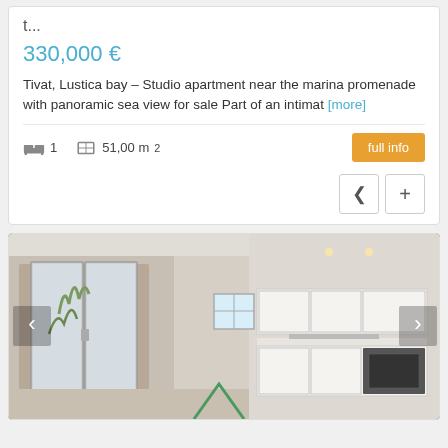t...
330,000 €
Tivat, Lustica bay – Studio apartment near the marina promenade with panoramic sea view for sale Part of an intimat [more]
1   51,00 m²
[Figure (photo): Interior photo of a modern studio apartment showing an open-plan kitchen with white cabinetry, sliding glass doors to a courtyard with vegetation, and a small window. Navigation arrows on left and right sides.]